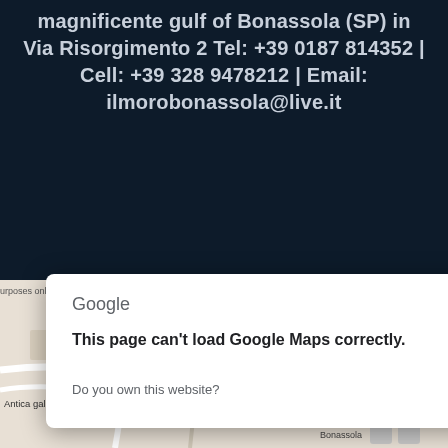magnificente gulf of Bonassola (SP) in Via Risorgimento 2 Tel: +39 0187 814352 | Cell: +39 328 9478212 | Email: ilmorobonassola@live.it
[Figure (screenshot): Google Maps dialog box showing 'This page can't load Google Maps correctly.' with an OK button, overlaid on a partial map view of Bonassola area with development watermark]
Google
This page can't load Google Maps correctly.
Do you own this website?
OK
For development purposes only
Antica galleria ciclabile
Giardino Via Sivori
Pensione Moderna
Affittacamere "De b..."